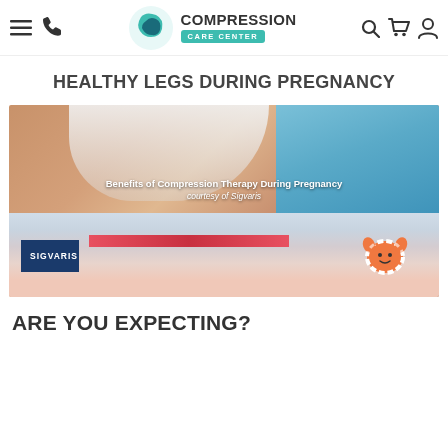[Figure (logo): Compression Care Center logo with teal swoosh icon and teal banner]
HEALTHY LEGS DURING PREGNANCY
[Figure (photo): Photo of a pregnant woman's belly in white top, with baby clothes and a striped orange toy, overlaid with text: 'Benefits of Compression Therapy During Pregnancy, courtesy of Sigvaris' and Sigvaris logo box]
ARE YOU EXPECTING?